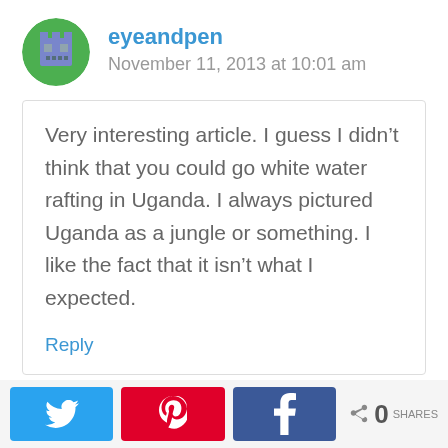eyeandpen
November 11, 2013 at 10:01 am
Very interesting article. I guess I didn’t think that you could go white water rafting in Uganda. I always pictured Uganda as a jungle or something. I like the fact that it isn’t what I expected.
Reply